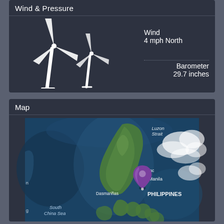Wind & Pressure
Wind
4 mph North
Barometer
29.7 inches
Map
[Figure (map): Satellite map showing the Philippines region with a purple location pin marker near Manila/Dasmarinas. Labels visible: Luzon Strait, Dasmariñas, Manila, rlac, PHILIPPINES, South China Sea, n, g]